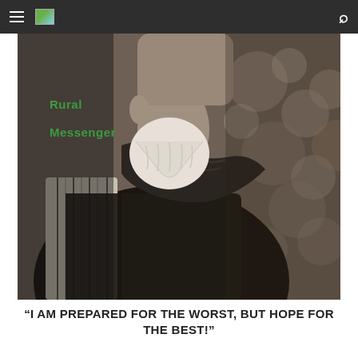Rural Messenger
[Figure (photo): Black and white close-up photograph of an older man with a white beard, wearing a black leather vest over a striped shirt and a decorative bandana/scarf around his neck. Bokeh background.]
“I AM PREPARED FOR THE WORST, BUT HOPE FOR THE BEST!”